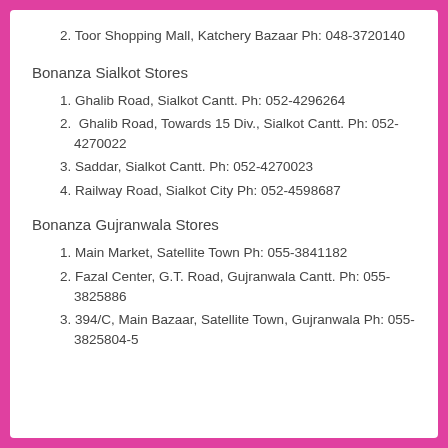2. Toor Shopping Mall, Katchery Bazaar Ph: 048-3720140
Bonanza Sialkot Stores
1. Ghalib Road, Sialkot Cantt. Ph: 052-4296264
2.  Ghalib Road, Towards 15 Div., Sialkot Cantt. Ph: 052-4270022
3. Saddar, Sialkot Cantt. Ph: 052-4270023
4. Railway Road, Sialkot City Ph: 052-4598687
Bonanza Gujranwala Stores
1. Main Market, Satellite Town Ph: 055-3841182
2. Fazal Center, G.T. Road, Gujranwala Cantt. Ph: 055-3825886
3. 394/C, Main Bazaar, Satellite Town, Gujranwala Ph: 055-3825804-5